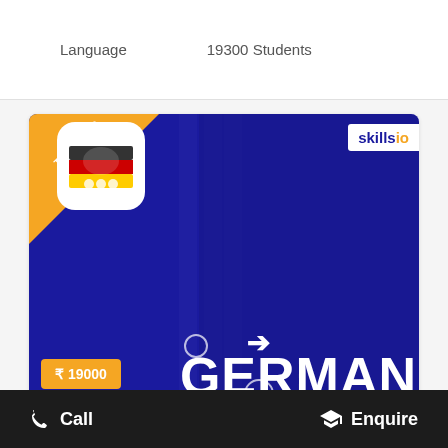Language    19300 Students
[Figure (screenshot): German Certification Training course card with TRENDING badge, app icon showing German flag, price ₹ 19000, 'GERMAN CERTIFICATION TRAINING' text on blue background with skillsion logo]
German Classes
📞 Call    🎓 Enquire